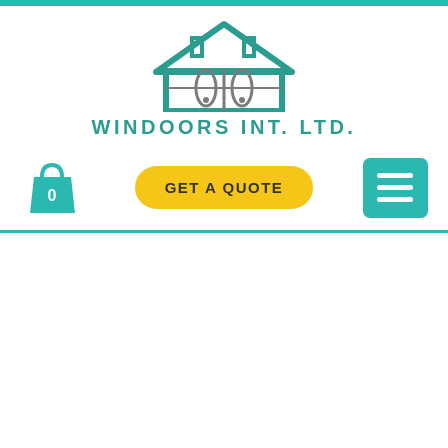[Figure (logo): Windoors Int. Ltd. logo — a house outline in teal with decorative door/window elements inside, above the company name in teal spaced capitals]
WINDOORS INT. LTD.
[Figure (infographic): Navigation bar with teal shopping bag icon showing '0', a yellow pill-shaped 'GET A QUOTE' button, and a teal hamburger menu button]
[Figure (photo): Exterior photo of a row of UK red-brick terraced houses with white UPVC windows and a grey slate roof, taken from below against a blue sky. A blue circular chat button with three dots is overlaid in the bottom-right corner.]